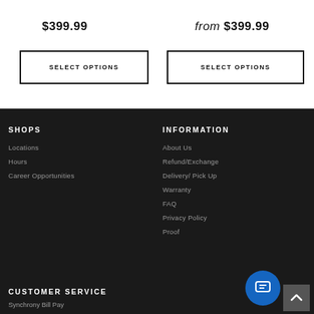$399.99
from $399.99
SELECT OPTIONS
SELECT OPTIONS
SHOPS
Locations
Hours
Career Opportunities
INFORMATION
About Us
Refund/Exchange
Delivery/ Pick Up
Warranty
FAQ
Privacy Policy
Proof
CUSTOMER SERVICE
Synchrony Bill Pay